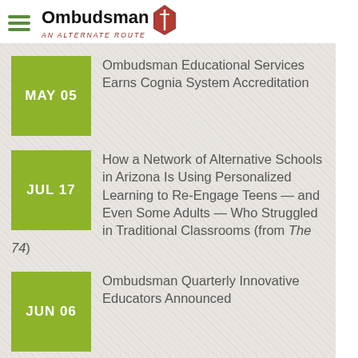Ombudsman — An Alternate Route
MAY 05 — Ombudsman Educational Services Earns Cognia System Accreditation
JUL 17 — How a Network of Alternative Schools in Arizona Is Using Personalized Learning to Re-Engage Teens — and Even Some Adults — Who Struggled in Traditional Classrooms (from The 74)
JUN 06 — Ombudsman Quarterly Innovative Educators Announced